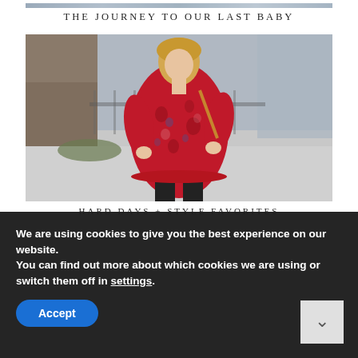[Figure (photo): Partial view of a photo at the top, showing a blurry landscape or background scene.]
THE JOURNEY TO OUR LAST BABY
[Figure (photo): A woman wearing a red floral dress with black tights, standing outdoors on a sidewalk. The background is blurred.]
HARD DAYS + STYLE FAVORITES
We are using cookies to give you the best experience on our website.
You can find out more about which cookies we are using or switch them off in settings.
Accept